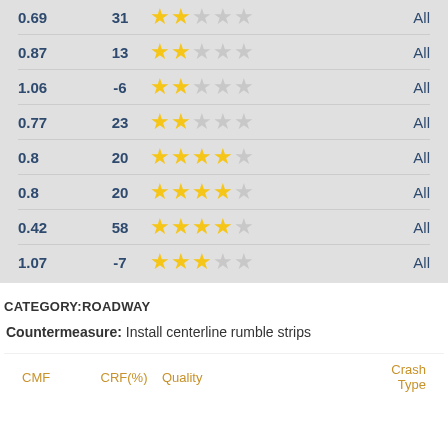| CMF | CRF(%) | Quality | Crash Type |
| --- | --- | --- | --- |
| 0.69 | 31 | 2 stars | All |
| 0.87 | 13 | 2 stars | All |
| 1.06 | -6 | 2 stars | All |
| 0.77 | 23 | 2 stars | All |
| 0.8 | 20 | 4.5 stars | All |
| 0.8 | 20 | 4.5 stars | All |
| 0.42 | 58 | 4.5 stars | All |
| 1.07 | -7 | 3 stars | All |
CATEGORY: ROADWAY
Countermeasure: Install centerline rumble strips
| CMF | CRF(%) | Quality | Crash Type |
| --- | --- | --- | --- |